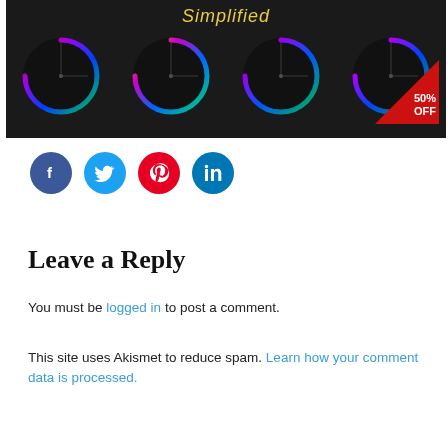[Figure (screenshot): Dark background banner showing four circular rainbow knob controls with a '50% OFF' red triangle badge in the bottom-right corner and 'Simplified' text in yellow at the top center.]
[Figure (infographic): Row of four social media share buttons: Facebook (dark blue), Twitter (light blue), Pinterest (red), LinkedIn (blue).]
Leave a Reply
You must be logged in to post a comment.
This site uses Akismet to reduce spam. Learn how your comment data is processed.